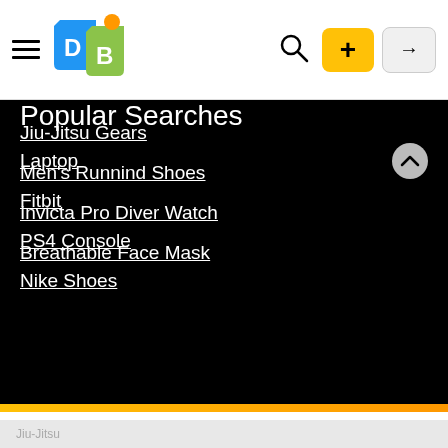DealBase app header with logo, search, add, and login icons
Jiu-Jitsu Gears
Men's Runnind Shoes
Invicta Pro Diver Watch
Breathable Face Mask
Popular Searches
Laptop
Fitbit
PS4 Console
Nike Shoes